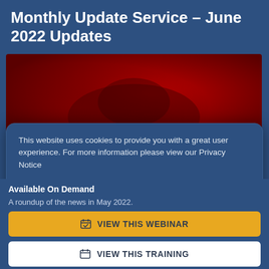Monthly Update Service – June 2022 Updates
[Figure (photo): Dark red/crimson background image, appears to show a faint silhouette or landscape in dark red tones]
This website uses cookies to provide you with a great user experience. For more information please view our Privacy Notice
Accept All
Customise Settings
Available On Demand
A roundup of the news in May 2022.
VIEW THIS WEBINAR
VIEW THIS TRAINING